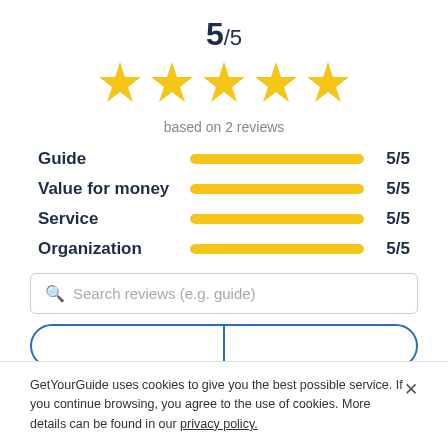5/5
[Figure (other): Five yellow star rating icons in a row]
based on 2 reviews
[Figure (bar-chart): Category ratings]
Search reviews (e.g. guide)
GetYourGuide uses cookies to give you the best possible service. If you continue browsing, you agree to the use of cookies. More details can be found in our privacy policy.